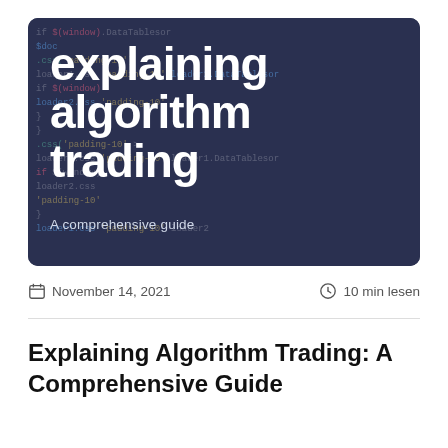[Figure (illustration): Dark navy banner image with blurred code editor text in background. Large white bold text reads 'explaining algorithm trading' with subtitle 'A comprehensive guide']
November 14, 2021
10 min lesen
Explaining Algorithm Trading: A Comprehensive Guide